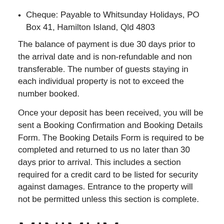Cheque: Payable to Whitsunday Holidays, PO Box 41, Hamilton Island, Qld 4803
The balance of payment is due 30 days prior to the arrival date and is non-refundable and non transferable. The number of guests staying in each individual property is not to exceed the number booked.
Once your deposit has been received, you will be sent a Booking Confirmation and Booking Details Form. The Booking Details Form is required to be completed and returned to us no later than 30 days prior to arrival. This includes a section required for a credit card to be listed for security against damages. Entrance to the property will not be permitted unless this section is complete.
MINIMUM BOOKING REQUIREMENT